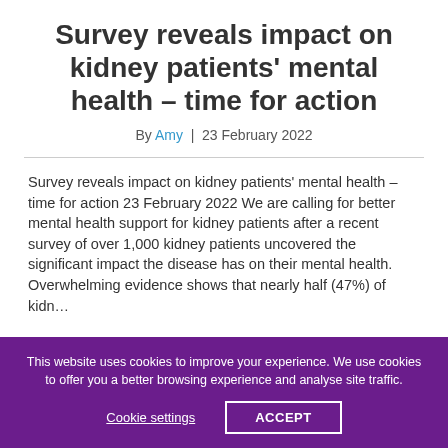Survey reveals impact on kidney patients' mental health – time for action
By Amy | 23 February 2022
Survey reveals impact on kidney patients' mental health – time for action 23 February 2022 We are calling for better mental health support for kidney patients after a recent survey of over 1,000 kidney patients uncovered the significant impact the disease has on their mental health. Overwhelming evidence shows that nearly half (47%) of kidney...
This website uses cookies to improve your experience. We use cookies to offer you a better browsing experience and analyse site traffic.